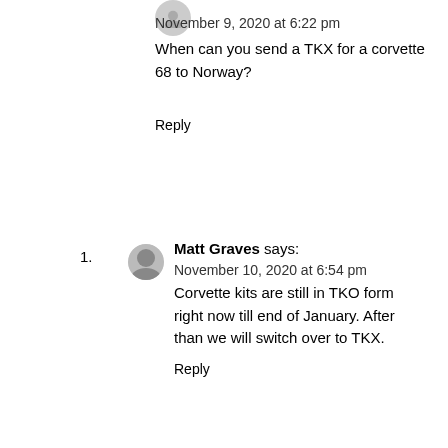November 9, 2020 at 6:22 pm
When can you send a TKX for a corvette 68 to Norway?
Reply
Matt Graves says:
November 10, 2020 at 6:54 pm
Corvette kits are still in TKO form right now till end of January. After than we will switch over to TKX.
Reply